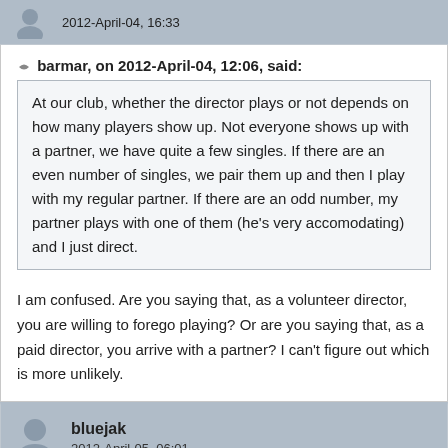2012-April-04, 16:33
barmar, on 2012-April-04, 12:06, said:
At our club, whether the director plays or not depends on how many players show up. Not everyone shows up with a partner, we have quite a few singles. If there are an even number of singles, we pair them up and then I play with my regular partner. If there are an odd number, my partner plays with one of them (he's very accomodating) and I just direct.
I am confused. Are you saying that, as a volunteer director, you are willing to forego playing? Or are you saying that, as a paid director, you arrive with a partner? I can't figure out which is more unlikely.
bluejak
2012-April-05, 06:01
This has been discussed here and elsewhere a number of times. No consensus is ever reached. I would award myself Ave not Ave Plus but I have some sympathy with people who award themselves Ave Plus.